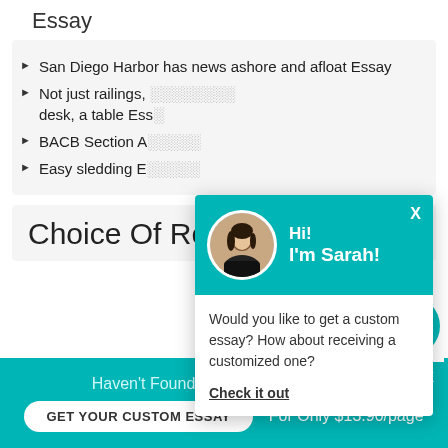Essay
San Diego Harbor has news ashore and afloat Essay
Not just railings, desk, a table Essay
BACB Section A
Easy sledding E
[Figure (screenshot): Chat popup with teal header showing avatar of Sarah with greeting 'Hi! I'm Sarah!' and message 'Would you like to get a custom essay? How about receiving a customized one?' with a 'Check it out' link]
Choice Of Re
Haven't Found The Essay You Want?
GET YOUR CUSTOM ESSAY
For Only $13.90/page